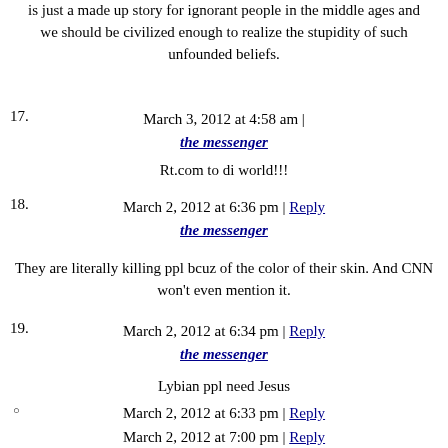is just a made up story for ignorant people in the middle ages and we should be civilized enough to realize the stupidity of such unfounded beliefs.
17. March 3, 2012 at 4:58 am | the messenger
Rt.com to di world!!!
18. March 2, 2012 at 6:36 pm | Reply
the messenger
They are literally killing ppl bcuz of the color of their skin. And CNN won't even mention it.
19. March 2, 2012 at 6:34 pm | Reply
the messenger
Lybian ppl need Jesus
○ March 2, 2012 at 6:33 pm | Reply
jeb
They have enough illusions to deal with.
March 2, 2012 at 7:00 pm | Reply